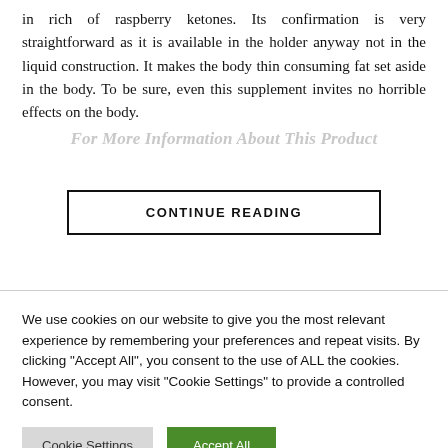in rich of raspberry ketones. Its confirmation is very straightforward as it is available in the holder anyway not in the liquid construction. It makes the body thin consuming fat set aside in the body. To be sure, even this supplement invites no horrible effects on the body.
For More Information About This Product
CONTINUE READING
We use cookies on our website to give you the most relevant experience by remembering your preferences and repeat visits. By clicking "Accept All", you consent to the use of ALL the cookies. However, you may visit "Cookie Settings" to provide a controlled consent.
Cookie Settings
Accept All